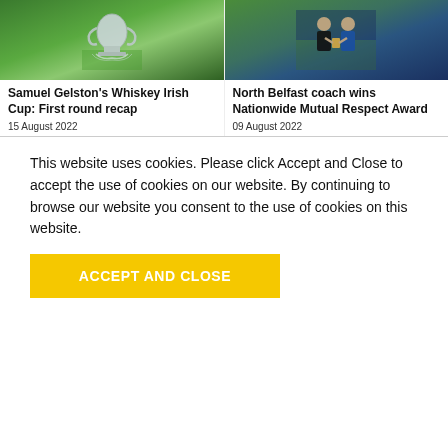[Figure (photo): Photo of a silver trophy cup on green grass]
[Figure (photo): Photo of two men, one in black shirt and one in blue jacket, holding an award]
Samuel Gelston's Whiskey Irish Cup: First round recap
15 August 2022
North Belfast coach wins Nationwide Mutual Respect Award
09 August 2022
This website uses cookies. Please click Accept and Close to accept the use of cookies on our website. By continuing to browse our website you consent to the use of cookies on this website.
ACCEPT AND CLOSE